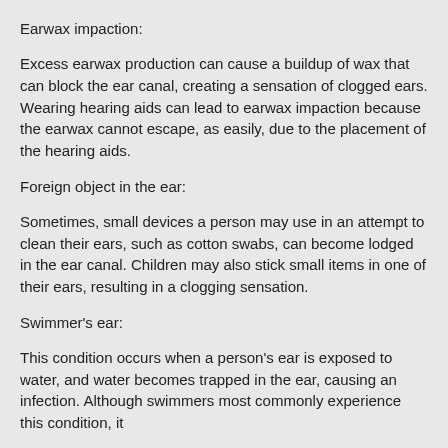Earwax impaction:
Excess earwax production can cause a buildup of wax that can block the ear canal, creating a sensation of clogged ears. Wearing hearing aids can lead to earwax impaction because the earwax cannot escape, as easily, due to the placement of the hearing aids.
Foreign object in the ear:
Sometimes, small devices a person may use in an attempt to clean their ears, such as cotton swabs, can become lodged in the ear canal. Children may also stick small items in one of their ears, resulting in a clogging sensation.
Swimmer's ear:
This condition occurs when a person's ear is exposed to water, and water becomes trapped in the ear, causing an infection. Although swimmers most commonly experience this condition, it